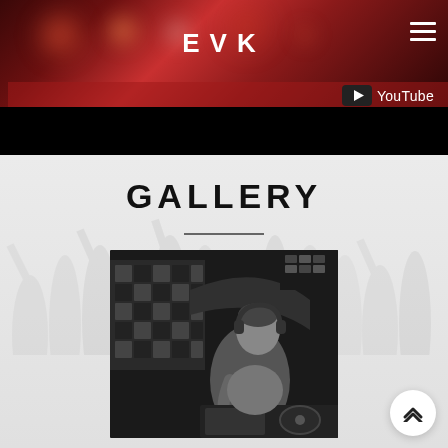EVK
[Figure (screenshot): Website header with YouTube video embed showing bokeh lights background, 'EVK' title in white letters, hamburger menu icon top right, and YouTube logo/badge visible on red strip]
GALLERY
[Figure (photo): Black and white photo of a DJ wearing headphones, leaning over DJ equipment at a nightclub venue with a checkered light panel in the background]